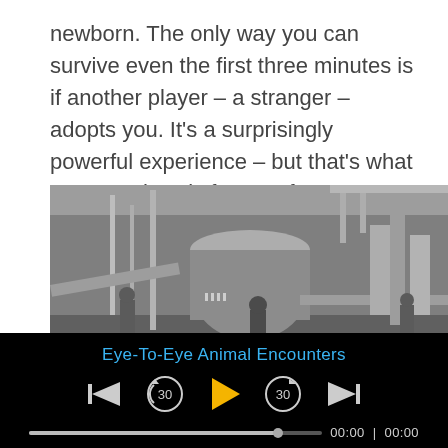newborn. The only way you can survive even the first three minutes is if another player – a stranger – adopts you. It's a surprisingly powerful experience – but that's what Jason Rohrer is famous for designing.
[Figure (photo): Black and white photograph of an industrial factory floor with machinery, conveyor belts, large tanks, and workers in white uniforms.]
Eye-To-Eye Animal Encounters
00:00 | 00:00